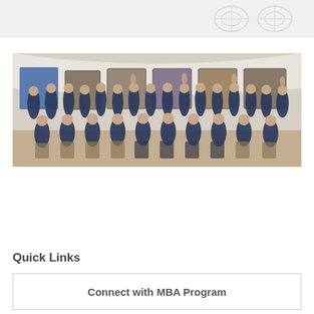[Figure (photo): Group photo of MBA program students/cohort wearing matching navy blue polo shirts, seated and standing in rows inside a venue with artwork on the walls and a decorative ceiling.]
Quick Links
Connect with MBA Program